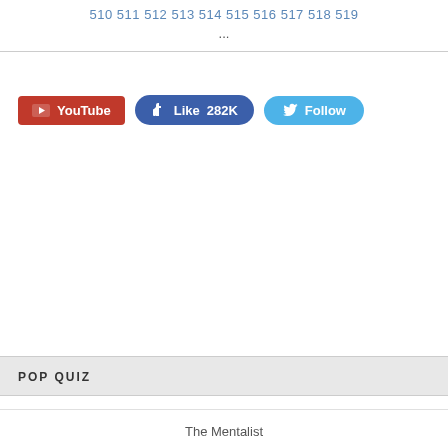510 511 512 513 514 515 516 517 518 519 ...
[Figure (other): Social media buttons: YouTube, Facebook Like 282K, Twitter Follow]
POP QUIZ
The Mentalist